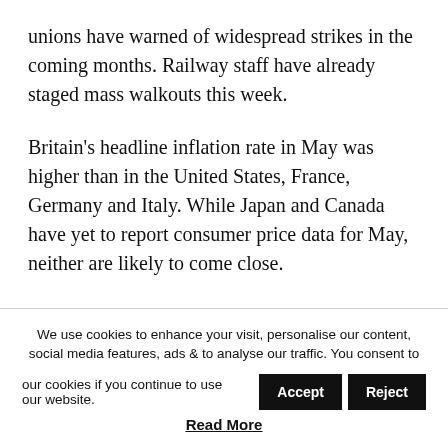unions have warned of widespread strikes in the coming months. Railway staff have already staged mass walkouts this week.
Britain's headline inflation rate in May was higher than in the United States, France, Germany and Italy. While Japan and Canada have yet to report consumer price data for May, neither are likely to come close.
We use cookies to enhance your visit, personalise our content, social media features, ads & to analyse our traffic. You consent to our cookies if you continue to use our website. [Accept] [Reject] Read More